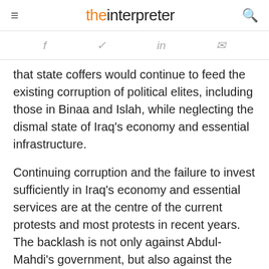the interpreter
f  ✓  in  ✉
that state coffers would continue to feed the existing corruption of political elites, including those in Binaa and Islah, while neglecting the dismal state of Iraq's economy and essential infrastructure.

Continuing corruption and the failure to invest sufficiently in Iraq's economy and essential services are at the centre of the current protests and most protests in recent years. The backlash is not only against Abdul-Mahdi's government, but also against the PMF. Multiple PMF offices in Iraq have been torched by protesters.